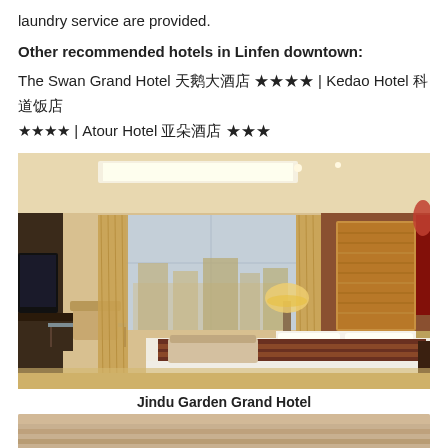laundry service are provided.
Other recommended hotels in Linfen downtown:
The Swan Grand Hotel 天鹅大酒店 ★★★★ | Kedao Hotel 科道饭店 ★★★★ | Atour Hotel 亚朵酒店 ★★★
[Figure (photo): Hotel room interior of Jindu Garden Grand Hotel showing a large bed with decorative runner, ornate golden wall art above the headboard, seating area near large windows, TV, and warm lighting]
Jindu Garden Grand Hotel
[Figure (photo): Partial view of another hotel room, cropped at bottom of page]